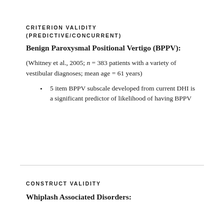CRITERION VALIDITY (PREDICTIVE/CONCURRENT)
Benign Paroxysmal Positional Vertigo (BPPV):
(Whitney et al., 2005; n = 383 patients with a variety of vestibular diagnoses; mean age = 61 years)
5 item BPPV subscale developed from current DHI is a significant predictor of likelihood of having BPPV
CONSTRUCT VALIDITY
Whiplash Associated Disorders: